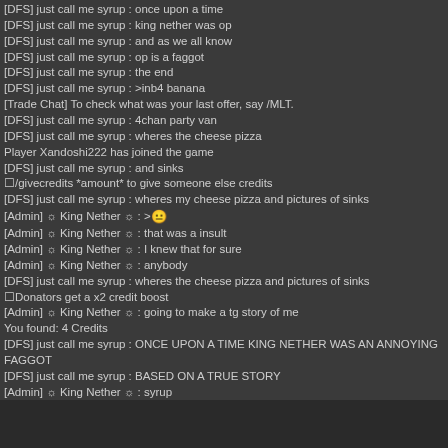[DFS] just call me syrup : once upon a time
[DFS] just call me syrup : king nether was op
[DFS] just call me syrup : and as we all know
[DFS] just call me syrup : op is a faggot
[DFS] just call me syrup : the end
[DFS] just call me syrup : >inb4 banana
[Trade Chat] To check what was your last offer, say /MLT.
[DFS] just call me syrup : 4chan party van
[DFS] just call me syrup : wheres the cheese pizza
Player Xandoshi222 has joined the game
[DFS] just call me syrup : and sinks
☐/givecredits *amount* to give someone else credits
[DFS] just call me syrup : wheres my cheese pizza and pictures of sinks
[Admin] ☼ King Nether ☼ : >😐
[Admin] ☼ King Nether ☼ : that was a insult
[Admin] ☼ King Nether ☼ : I knew that for sure
[Admin] ☼ King Nether ☼ : anybody
[DFS] just call me syrup : wheres the cheese pizza and pictures of sinks
☐Donators get a x2 credit boost
[Admin] ☼ King Nether ☼ : going to make a tg story of me
You found: 4 Credits
[DFS] just call me syrup : ONCE UPON A TIME KING NETHER WAS AN ANNOYING FAGGOT
[DFS] just call me syrup : BASED ON A TRUE STORY
[Admin] ☼ King Nether ☼ : syrup
Player |CC-oC| Fane has joined the game